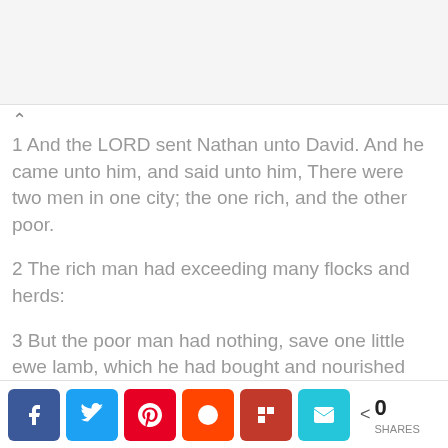1 And the LORD sent Nathan unto David. And he came unto him, and said unto him, There were two men in one city; the one rich, and the other poor.
2 The rich man had exceeding many flocks and herds:
3 But the poor man had nothing, save one little ewe lamb, which he had bought and nourished up, and it grew up together with him, and with
0 SHARES